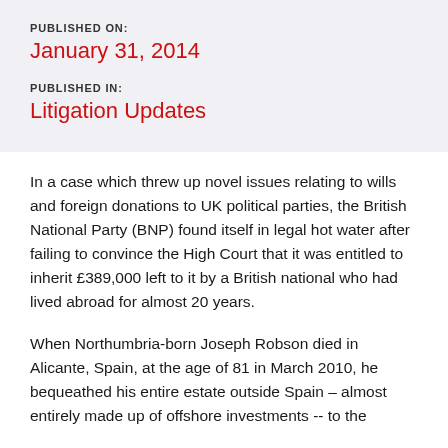PUBLISHED ON:
January 31, 2014
PUBLISHED IN:
Litigation Updates
In a case which threw up novel issues relating to wills and foreign donations to UK political parties, the British National Party (BNP) found itself in legal hot water after failing to convince the High Court that it was entitled to inherit £389,000 left to it by a British national who had lived abroad for almost 20 years.
When Northumbria-born Joseph Robson died in Alicante, Spain, at the age of 81 in March 2010, he bequeathed his entire estate outside Spain – almost entirely made up of offshore investments -- to the